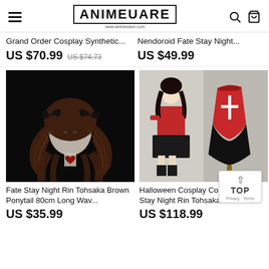AnimeUare www.animeware.com
Grand Order Cosplay Synthetic...
US $70.99  US $74.73
Nendoroid Fate Stay Night...
US $49.99
[Figure (photo): Fate Stay Night Rin Tohsaka brown ponytail 80cm long wavy wig on a mannequin head with black bow accessories and a heart necklace, against black background]
Fate Stay Night Rin Tohsaka Brown Ponytail 80cm Long Wav...
US $35.99
[Figure (photo): Halloween Cosplay Costume Fate Stay Night Rin Tohsaka red top with white cross and black skirt, shown on an anime illustration and a clothes mannequin]
Halloween Cosplay Costume Fate Stay Night Rin Tohsaka
US $118.99